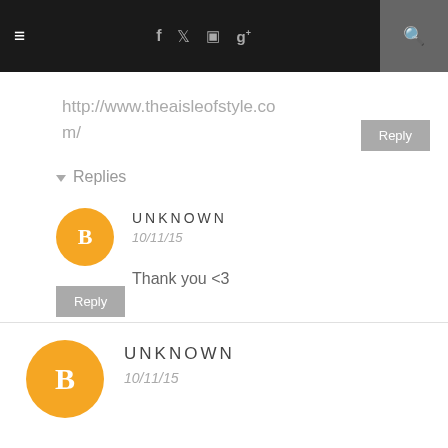≡  f  twitter  instagram  g+  🔍
http://www.theaisleofstyle.com/
▾ Replies
UNKNOWN
10/11/15
Thank you <3
Reply
UNKNOWN
10/11/15